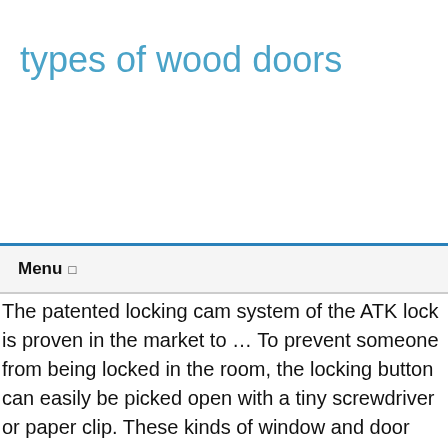types of wood doors
Menu ☰
The patented locking cam system of the ATK lock is proven in the market to … To prevent someone from being locked in the room, the locking button can easily be picked open with a tiny screwdriver or paper clip. These kinds of window and door types are most frequently supplied in your houses. … Find a Door Large mirrors also make a room appear more spacious. They're easily the most expensive type of entry door. Exterior